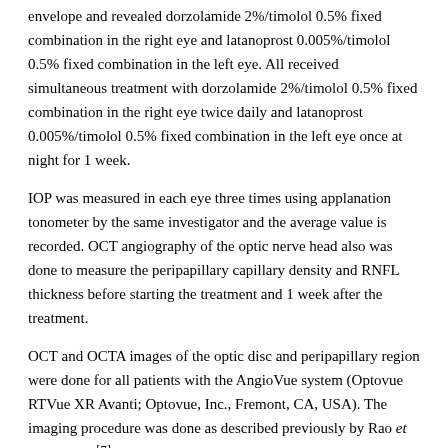envelope and revealed dorzolamide 2%/timolol 0.5% fixed combination in the right eye and latanoprost 0.005%/timolol 0.5% fixed combination in the left eye. All received simultaneous treatment with dorzolamide 2%/timolol 0.5% fixed combination in the right eye twice daily and latanoprost 0.005%/timolol 0.5% fixed combination in the left eye once at night for 1 week.
IOP was measured in each eye three times using applanation tonometer by the same investigator and the average value is recorded. OCT angiography of the optic nerve head also was done to measure the peripapillary capillary density and RNFL thickness before starting the treatment and 1 week after the treatment.
OCT and OCTA images of the optic disc and peripapillary region were done for all patients with the AngioVue system (Optovue RTVue XR Avanti; Optovue, Inc., Fremont, CA, USA). The imaging procedure was done as described previously by Rao et al. in 2016.[7] The system has an A-scan rate of 70.000 scans per second using light source centered on 840 nm and a bandwidth of 45 nm. The split-spectrum amplitude-decorrelation angiography algorithm was used to extract the OCT angiography information. In the optic disc scan, the software automatically fits an ellipse to the optic disc margin and calculates the average